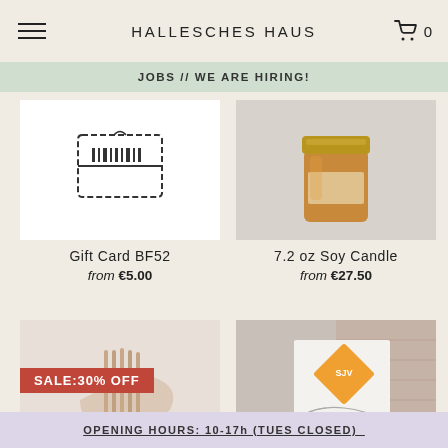HALLESCHES HAUS
JOBS // WE ARE HIRING!
Gift Card BF52
from €5.00
7.2 oz Soy Candle
from €27.50
Taper Candles
from €2.10  €4.00
Man v Machine Coffee Beans
from €12.00
OPENING HOURS: 10-17h (TUES CLOSED)_